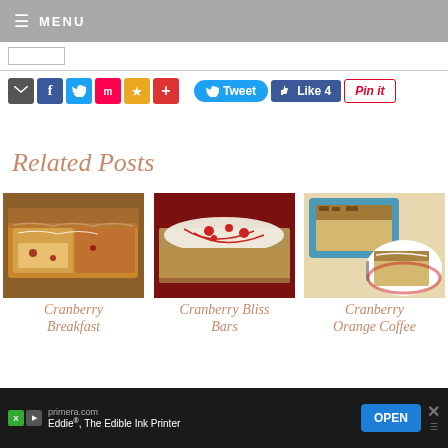≡ MENU
[Figure (screenshot): Social sharing buttons row: email, Facebook, Twitter, Mix, star/bookmark, plus; Tweet button, Like 4 button, Pin it button]
Related Posts
[Figure (photo): Cranberry bread loaf sliced on cutting board with white glaze drizzle]
Cranberry Breakfast
[Figure (photo): Cranberry Bliss Bar with white cream cheese frosting and cranberry pieces on red plate]
Cranberry Bliss Bars
[Figure (photo): Cranberry Orange Coffee cake in blue baking dish with streusel topping and slice on white plate]
Cranberry Orange Coffee
primera.com  Eddie®, The Edible Ink Printer  OPEN